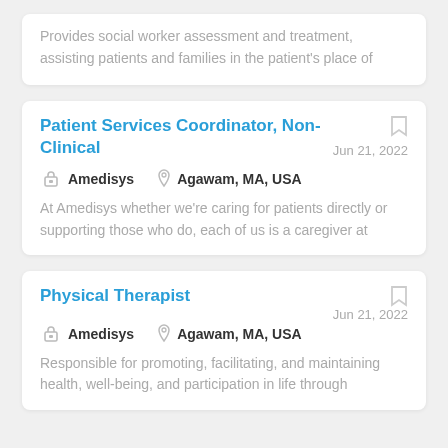Provides social worker assessment and treatment, assisting patients and families in the patient's place of
Patient Services Coordinator, Non-Clinical
Jun 21, 2022
Amedisys   Agawam, MA, USA
At Amedisys whether we're caring for patients directly or supporting those who do, each of us is a caregiver at
Physical Therapist
Jun 21, 2022
Amedisys   Agawam, MA, USA
Responsible for promoting, facilitating, and maintaining health, well-being, and participation in life through